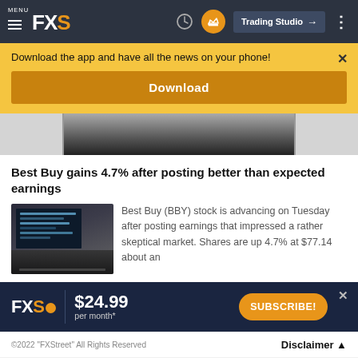MENU FXS | Trading Studio
Download the app and have all the news on your phone!
Download
[Figure (photo): Partial article header image strip]
Best Buy gains 4.7% after posting better than expected earnings
[Figure (photo): Laptop computer with code on screen, dark background]
Best Buy (BBY) stock is advancing on Tuesday after posting earnings that impressed a rather skeptical market. Shares are up 4.7% at $77.14 about an
[Figure (infographic): FXS subscription banner: $24.99 per month* with SUBSCRIBE! button]
©2022 "FXStreet" All Rights Reserved    Disclaimer ▲